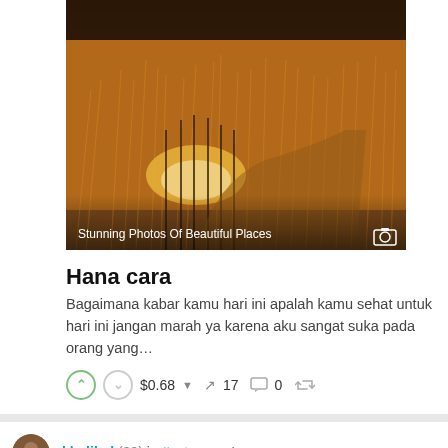[Figure (photo): Landscape photo of golden grass/reeds with a stream, warm amber tones. Overlay text: 'Stunning Photos Of Beautiful Places' with camera icon.]
Hana cara
Bagaimana kabar kamu hari ini apalah kamu sehat untuk hari ini jangan marah ya karena aku sangat suka pada orang yang…
↑ ↓ $0.68 ▾  ↑ 17  ☐ 0  ↺
khalikul (39) in #esteem • 4 years ago
[Figure (photo): Partial green landscape photo at bottom of page.]